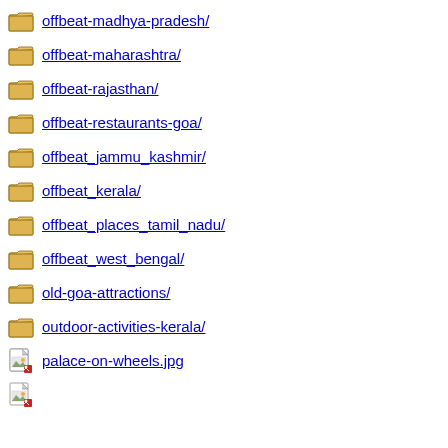offbeat-madhya-pradesh/
offbeat-maharashtra/
offbeat-rajasthan/
offbeat-restaurants-goa/
offbeat_jammu_kashmir/
offbeat_kerala/
offbeat_places_tamil_nadu/
offbeat_west_bengal/
old-goa-attractions/
outdoor-activities-kerala/
palace-on-wheels.jpg
(partial item)